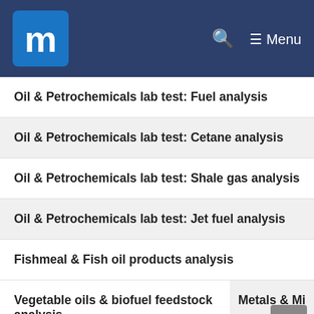m Menu
Oil & Petrochemicals lab test: Fuel analysis
Oil & Petrochemicals lab test: Cetane analysis
Oil & Petrochemicals lab test: Shale gas analysis
Oil & Petrochemicals lab test: Jet fuel analysis
Fishmeal & Fish oil products analysis
Vegetable oils & biofuel feedstock analysis
Metals & Minerals lab test: Flow moisture point testing (FM...